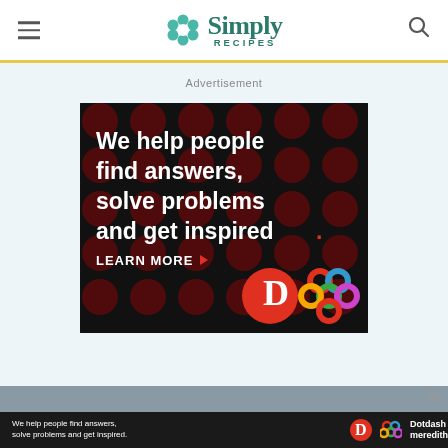[Figure (logo): Simply Recipes logo with teal flower icon, teal text 'Simply' and 'RECIPES' subtitle]
Advertisement
[Figure (illustration): Dark advertisement banner with dark red polka dot pattern. White bold text reads: 'We help people find answers, solve problems and get inspired.' with red period. 'LEARN MORE' with arrow. Dotdash 'D' logo in red circle and colorful Meredith knot logo.]
[Figure (screenshot): Bottom strip showing partial photo and a small black ad bar with 'We help people find answers, solve problems and get inspired.' text, Dotdash D logo, colorful Meredith knot logo, and 'Dotdash meredith' text. 'Ad' label on right.]